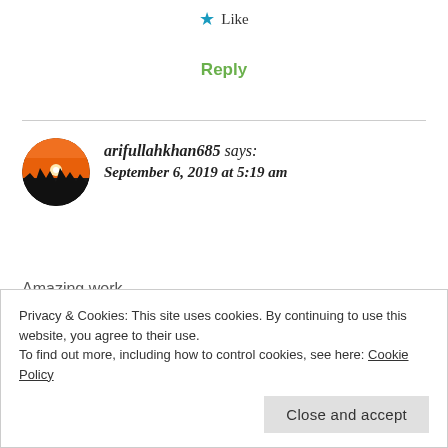★ Like
Reply
arifullahkhan685 says: September 6, 2019 at 5:19 am
Amazing work
Privacy & Cookies: This site uses cookies. By continuing to use this website, you agree to their use.
To find out more, including how to control cookies, see here: Cookie Policy
Close and accept